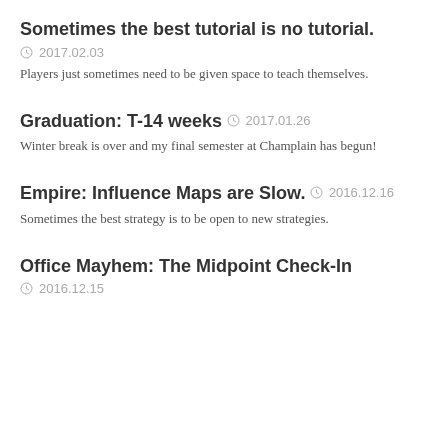Sometimes the best tutorial is no tutorial.
2017.02.03
Players just sometimes need to be given space to teach themselves.
Graduation: T-14 weeks
2017.01.26
Winter break is over and my final semester at Champlain has begun!
Empire: Influence Maps are Slow.
2016.12.16
Sometimes the best strategy is to be open to new strategies.
Office Mayhem: The Midpoint Check-In
2016.12.15